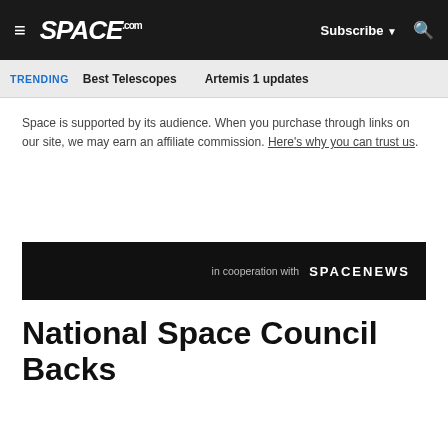≡ SPACE.com  Subscribe ▼ 🔍
TRENDING  Best Telescopes  Artemis 1 updates
Space is supported by its audience. When you purchase through links on our site, we may earn an affiliate commission. Here's why you can trust us.
[Figure (other): Dark banner reading 'in cooperation with SPACENEWS']
National Space Council Backs